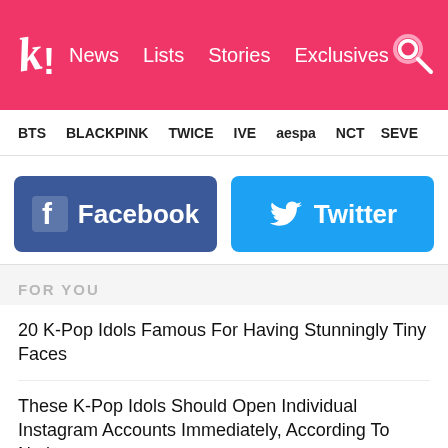Koreaboo — News | Lists | Stories | Exclusives
BTS  BLACKPINK  TWICE  IVE  aespa  NCT  SEVE
[Figure (infographic): Facebook and Twitter social sharing buttons, side by side. Facebook button is dark blue with Facebook logo and text 'Facebook'. Twitter button is light blue with Twitter bird logo and text 'Twitter'.]
FOR YOU
20 K-Pop Idols Famous For Having Stunningly Tiny Faces
These K-Pop Idols Should Open Individual Instagram Accounts Immediately, According To Netizens
There Have Been No New "Big Four" K-Pop Boy Groups In An Oddly Long Time
BTS's V Celebrates Jungkook's Birthday By Releasing